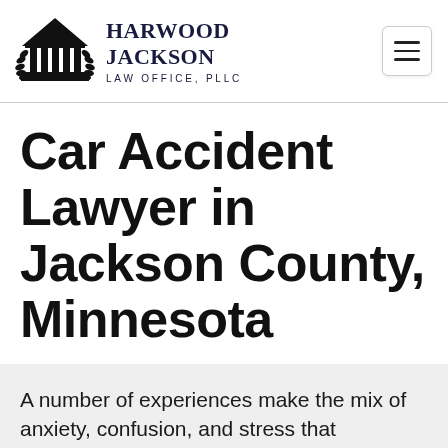HARWOOD JACKSON LAW OFFICE, PLLC
Car Accident Lawyer in Jackson County, Minnesota
A number of experiences make the mix of anxiety, confusion, and stress that outcomes from a car accident. So much occurs at the